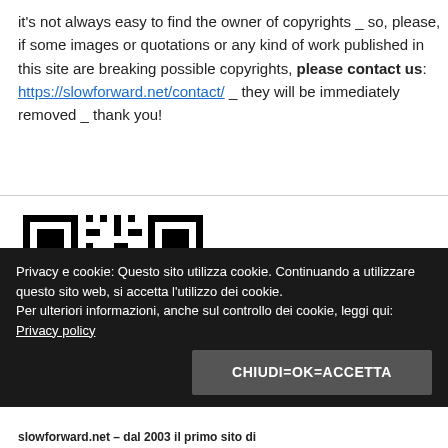it's not always easy to find the owner of copyrights _ so, please, if some images or quotations or any kind of work published in this site are breaking possible copyrights, please contact us: https://slowforward.net/contact/ _ they will be immediately removed _ thank you!
[Figure (other): QR code image, black and white pattern]
Privacy e cookie: Questo sito utilizza cookie. Continuando a utilizzare questo sito web, si accetta l'utilizzo dei cookie.
Per ulteriori informazioni, anche sul controllo dei cookie, leggi qui: Privacy policy
CHIUDI=OK=ACCETTA
slowforward.net – dal 2003 il primo sito di